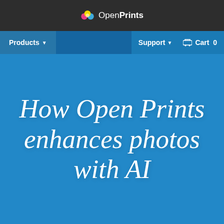OpenPrints
Products  Support  Cart 0
How Open Prints enhances photos with AI